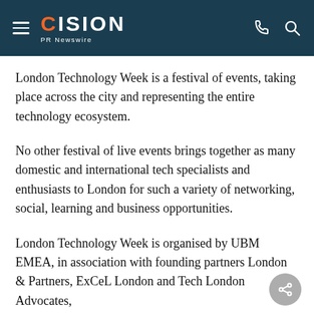CISION PR Newswire
London Technology Week is a festival of events, taking place across the city and representing the entire technology ecosystem.
No other festival of live events brings together as many domestic and international tech specialists and enthusiasts to London for such a variety of networking, social, learning and business opportunities.
London Technology Week is organised by UBM EMEA, in association with founding partners London & Partners, ExCeL London and Tech London Advocates,